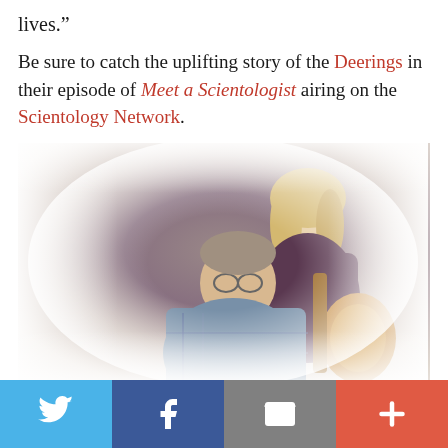lives.”
Be sure to catch the uplifting story of the Deerings in their episode of Meet a Scientologist airing on the Scientology Network.
[Figure (photo): Photo of the Deerings, a couple: a blonde woman standing behind a man who is seated holding a banjo/mandolin instrument. The photo has a painted/sketch artistic effect with white wash edges.]
Watch the full episode on Scientology.TV